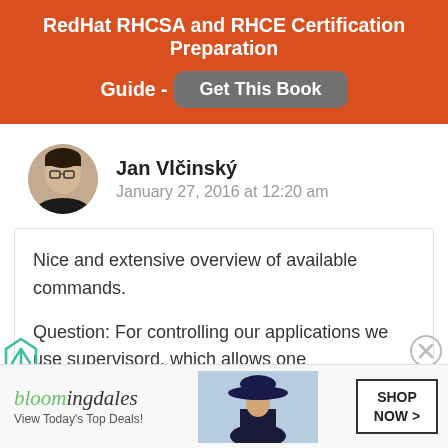RedHat RHCSA and RHCE Certification Preparation Guide - Get This Book
[Figure (photo): Author avatar photo of Jan Vlčinský, a man with glasses]
Jan Vlčinský
January 27, 2016 at 12:20 am
Nice and extensive overview of available commands.

Question: For controlling our applications we use supervisord, which allows one
[Figure (infographic): Bloomingdale's advertisement banner: 'View Today's Top Deals!' with a woman in a hat and SHOP NOW > button]